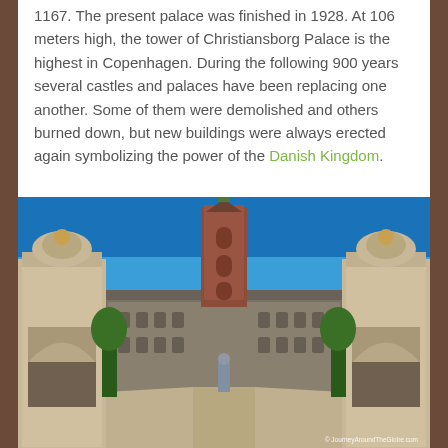1167. The present palace was finished in 1928. At 106 meters high, the tower of Christiansborg Palace is the highest in Copenhagen. During the following 900 years several castles and palaces have been replacing one another. Some of them were demolished and others burned down, but new buildings were always erected again symbolizing the power of the Danish Kingdom.
[Figure (photo): Photograph of Christiansborg Palace in Copenhagen, viewed through ornate stone gate pillars, with the tall red-brick tower visible in the center background. A cobblestone courtyard leads up to the palace. Photo credit: © JourneyAroundTheGlobe.com]